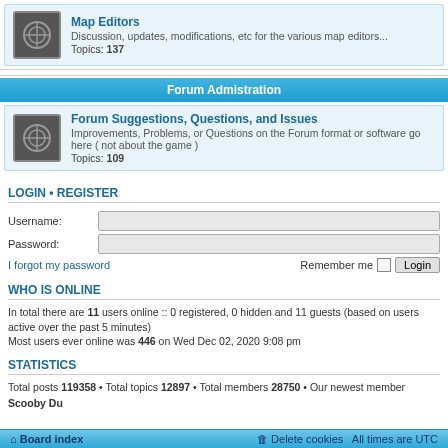Map Editors
Discussion, updates, modifications, etc for the various map editors... Topics: 137
Forum Admistration
Forum Suggestions, Questions, and Issues
Improvements, Problems, or Questions on the Forum format or software go here ( not about the game ) Topics: 109
LOGIN • REGISTER
Username:
Password:
I forgot my password
Remember me
WHO IS ONLINE
In total there are 11 users online :: 0 registered, 0 hidden and 11 guests (based on users active over the past 5 minutes)
Most users ever online was 446 on Wed Dec 02, 2020 9:08 pm
STATISTICS
Total posts 119358 • Total topics 12897 • Total members 28750 • Our newest member Scooby Du
Board index   Delete cookies   All times are UTC